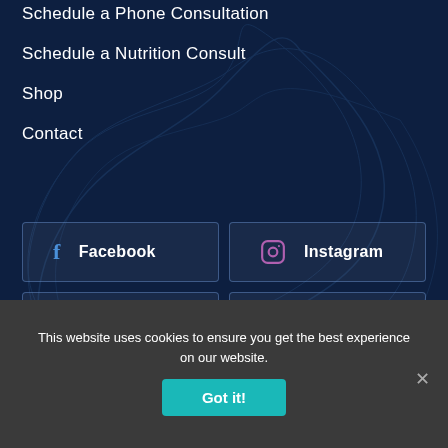Schedule a Phone Consultation
Schedule a Nutrition Consult
Shop
Contact
[Figure (infographic): Social media button grid with Facebook, Instagram, YouTube, Twitter, LinkedIn links styled as bordered rectangular buttons on dark navy background]
This website uses cookies to ensure you get the best experience on our website.
Got it!